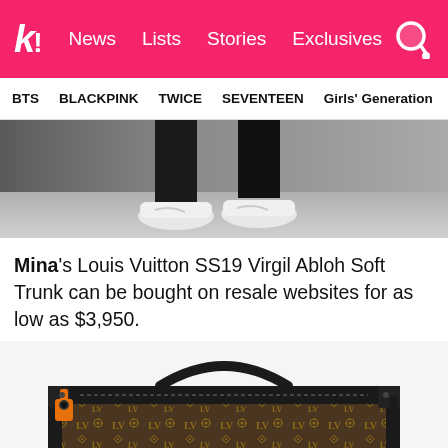k! News Lists Stories Exclusives
BTS BLACKPINK TWICE SEVENTEEN Girls' Generation
[Figure (photo): Black and white photo showing person's legs from the knees down wearing black pants and white Nike sneakers on a light floor]
Mina's Louis Vuitton SS19 Virgil Abloh Soft Trunk can be bought on resale websites for as low as $3,950.
[Figure (photo): Louis Vuitton SS19 Virgil Abloh Soft Trunk bag with monogram canvas pattern, black leather trim, orange zipper pull, and black strap on white background]